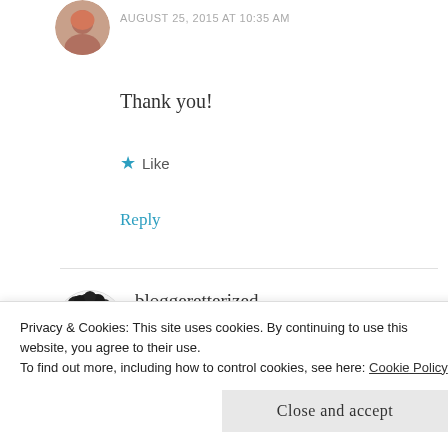AUGUST 25, 2015 AT 10:35 AM
Thank you!
Like
Reply
bloggeretterized
AUGUST 25, 2015 AT 9:02 AM
Burgling 101! 😅 Clever! Good list
Privacy & Cookies: This site uses cookies. By continuing to use this website, you agree to their use.
To find out more, including how to control cookies, see here: Cookie Policy
Close and accept